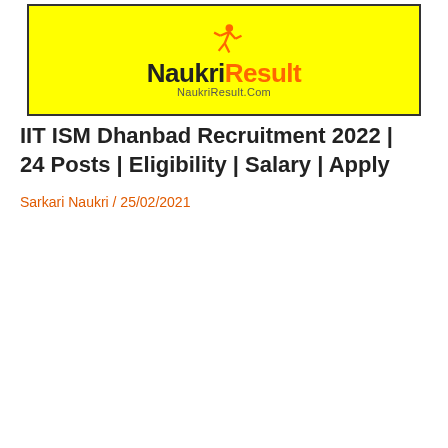[Figure (logo): NaukriResult.Com logo banner on yellow background with running figure icon and text 'NaukriResult' and 'NaukriResult.Com']
IIT ISM Dhanbad Recruitment 2022 | 24 Posts | Eligibility | Salary | Apply
Sarkari Naukri / 25/02/2021
[Figure (logo): Sarkari Naukri banner on blue background with large white text 'Sarkari Naukri' and NaukriResult.Com oval logo at bottom]